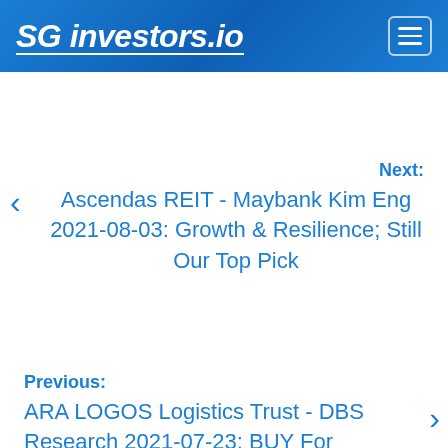SG investors.io
Next:
Ascendas REIT - Maybank Kim Eng 2021-08-03: Growth & Resilience; Still Our Top Pick
Previous:
ARA LOGOS Logistics Trust - DBS Research 2021-07-23: BUY For Further Yield